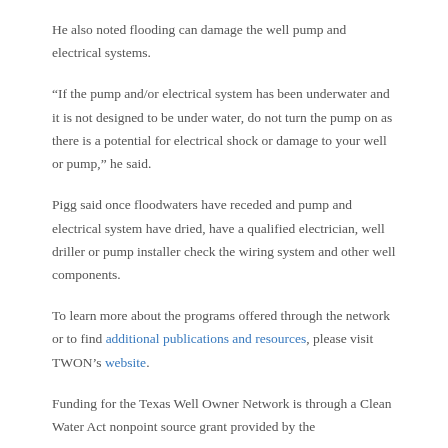He also noted flooding can damage the well pump and electrical systems.
“If the pump and/or electrical system has been underwater and it is not designed to be under water, do not turn the pump on as there is a potential for electrical shock or damage to your well or pump,” he said.
Pigg said once floodwaters have receded and pump and electrical system have dried, have a qualified electrician, well driller or pump installer check the wiring system and other well components.
To learn more about the programs offered through the network or to find additional publications and resources, please visit TWON’s website.
Funding for the Texas Well Owner Network is through a Clean Water Act nonpoint source grant provided by the